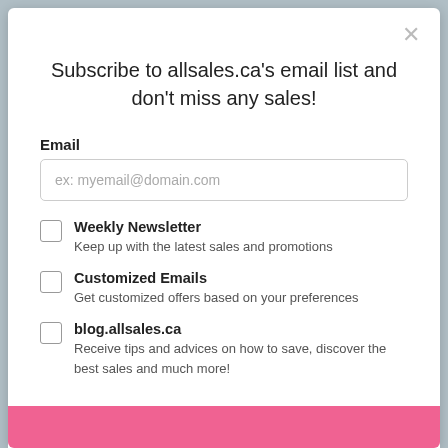Subscribe to allsales.ca's email list and don't miss any sales!
Email
ex: myemail@domain.com
Weekly Newsletter — Keep up with the latest sales and promotions
Customized Emails — Get customized offers based on your preferences
blog.allsales.ca — Receive tips and advices on how to save, discover the best sales and much more!